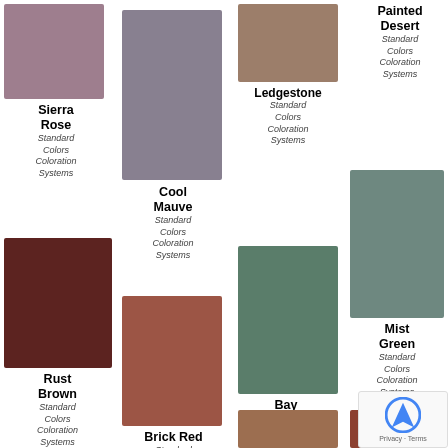[Figure (illustration): Color swatch for Sierra Rose — muted mauve/pink square]
Sierra Rose
Standard Colors Coloration Systems
[Figure (illustration): Color swatch for Cool Mauve — medium gray-mauve square]
Cool Mauve
Standard Colors Coloration Systems
[Figure (illustration): Color swatch for Ledgestone — warm tan/brown square]
Ledgestone
Standard Colors Coloration Systems
Painted Desert
Standard Colors Coloration Systems
[Figure (illustration): Color swatch for Rust Brown — dark reddish brown square]
Rust Brown
Standard Colors Coloration Systems
[Figure (illustration): Color swatch for Brick Red — medium terracotta/brick red square]
Brick Red
Standard Colors Coloration Systems (partial)
[Figure (illustration): Color swatch for Bay Green — muted sage/teal green square]
Bay Green
Standard Colors Coloration Systems
[Figure (illustration): Color swatch for Mist Green — gray-green square]
Mist Green
Standard Colors Coloration Systems
[Figure (illustration): Partial color swatch at bottom center — brown/tan]
[Figure (illustration): Partial color swatch at bottom right — reddish brown]